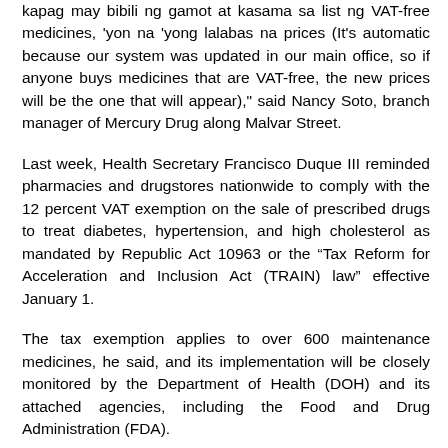kapag may bibili ng gamot at kasama sa list ng VAT-free medicines, 'yon na 'yong lalabas na prices (It's automatic because our system was updated in our main office, so if anyone buys medicines that are VAT-free, the new prices will be the one that will appear)," said Nancy Soto, branch manager of Mercury Drug along Malvar Street.
Last week, Health Secretary Francisco Duque III reminded pharmacies and drugstores nationwide to comply with the 12 percent VAT exemption on the sale of prescribed drugs to treat diabetes, hypertension, and high cholesterol as mandated by Republic Act 10963 or the “Tax Reform for Acceleration and Inclusion Act (TRAIN) law” effective January 1.
The tax exemption applies to over 600 maintenance medicines, he said, and its implementation will be closely monitored by the Department of Health (DOH) and its attached agencies, including the Food and Drug Administration (FDA).
Duque said non-compliance of the mandate can cause drugstores